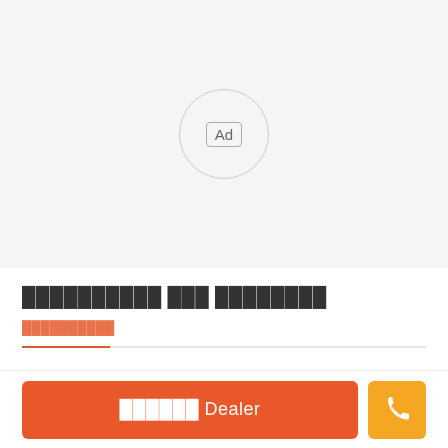[Figure (other): Advertisement placeholder area with a circular badge containing 'Ad' text on a light gray background]
██████████ ███ ████████
██████████
██████ Dealer (button)